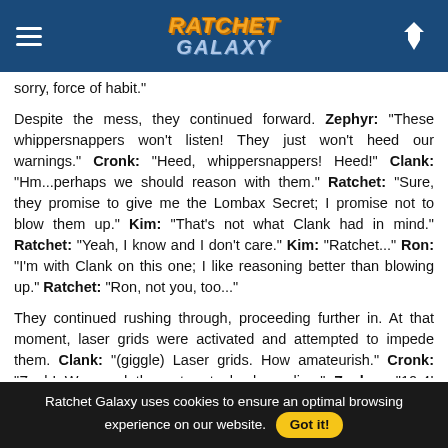Ratchet Galaxy
sorry, force of habit."
Despite the mess, they continued forward. Zephyr: "These whippersnappers won't listen! They just won't heed our warnings." Cronk: "Heed, whippersnappers! Heed!" Clank: "Hm...perhaps we should reason with them." Ratchet: "Sure, they promise to give me the Lombax Secret; I promise not to blow them up." Kim: "That's not what Clank had in mind." Ratchet: "Yeah, I know and I don't care." Kim: "Ratchet..." Ron: "I'm with Clank on this one; I like reasoning better than blowing up." Ratchet: "Ron, not you, too..."
They continued rushing through, proceeding further in. At that moment, laser grids were activated and attempted to impede them. Clank: "(giggle) Laser grids. How amateurish." Cronk: "Zeph! We need those turrets back on line." Zephyr: "10-4! Rerouting primary compositors." Ron: "Oh, no, not more turrets!" Ratchet: "Ron! Quit your bellyaching and keep..."
Ratchet Galaxy uses cookies to ensure an optimal browsing experience on our website. Got it!